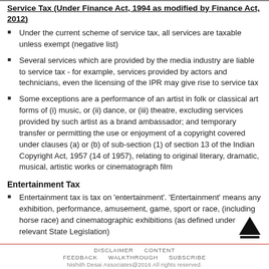Service Tax (Under Finance Act, 1994 as modified by Finance Act, 2012)
Under the current scheme of service tax, all services are taxable unless exempt (negative list)
Several services which are provided by the media industry are liable to service tax - for example, services provided by actors and technicians, even the licensing of the IPR may give rise to service tax
Some exceptions are a performance of an artist in folk or classical art forms of (i) music, or (ii) dance, or (iii) theatre, excluding services provided by such artist as a brand ambassador; and temporary transfer or permitting the use or enjoyment of a copyright covered under clauses (a) or (b) of sub-section (1) of section 13 of the Indian Copyright Act, 1957 (14 of 1957), relating to original literary, dramatic, musical, artistic works or cinematograph film
Entertainment Tax
Entertainment tax is tax on 'entertainment'. 'Entertainment' means any exhibition, performance, amusement, game, sport or race, (including horse race) and cinematographic exhibitions (as defined under relevant State Legislation)
Exhibition of Cinematographic film falls under the purview of entertainment tax. It is usually reflected in the ticket prices
DISCLAIMER   CONTENT   FEEDBACK   WALKTHROUGH   SUBSCRIBE
Nishith Desai Associates@2016 All rights reserved.